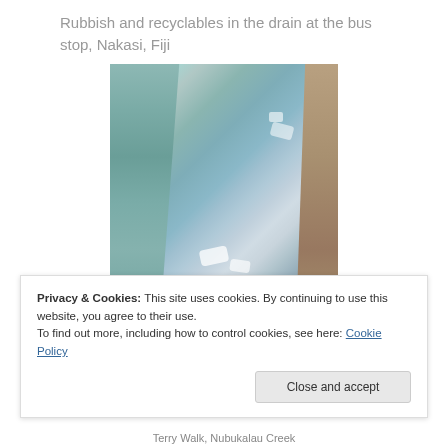Rubbish and recyclables in the drain at the bus stop, Nakasi, Fiji
[Figure (photo): Aerial or close-up view of a drain/canal with floating rubbish and recyclables visible in water, concrete walls on sides, at bus stop Nakasi Fiji]
Privacy & Cookies: This site uses cookies. By continuing to use this website, you agree to their use.
To find out more, including how to control cookies, see here: Cookie Policy
Close and accept
Terry Walk, Nubukalau Creek